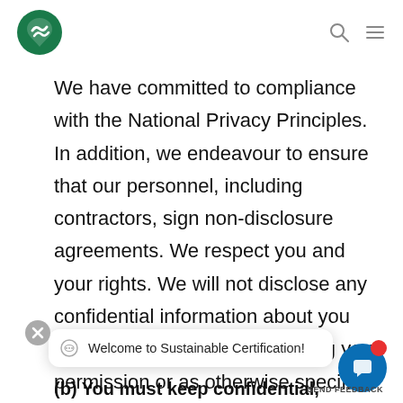Sustainable Certification logo with navigation icons
We have committed to compliance with the National Privacy Principles. In addition, we endeavour to ensure that our personnel, including contractors, sign non-disclosure agreements. We respect you and your rights. We will not disclose any confidential information about you without first seeking and gaining your permission or as otherwise specified in the Privacy Policy.
(b) You must keep confidential,